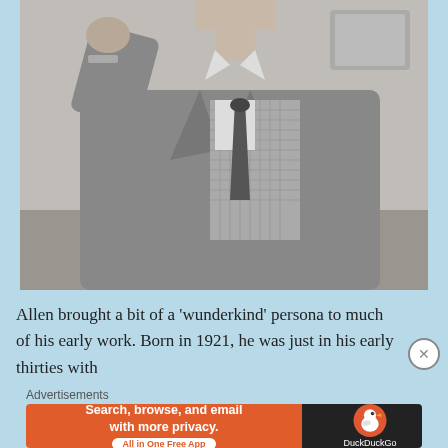[Figure (photo): Black and white photograph of a man in a suit and tie sitting behind a vintage microphone, raising one hand with a pen or similar object. The scene appears to be a broadcast or radio studio setting from the mid-20th century.]
Allen brought a bit of a 'wunderkind' persona to much of his early work. Born in 1921, he was just in his early thirties with
Advertisements
[Figure (infographic): DuckDuckGo advertisement banner. Left side: orange background with white bold text 'Search, browse, and email with more privacy.' and a white pill button 'All in One Free App'. Right side: dark background with DuckDuckGo duck logo and 'DuckDuckGo' text in white.]